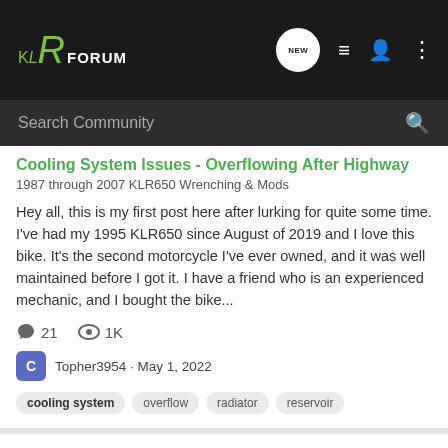KLR FORUM
Search Community
Cooling System Issues - Overflowing After Highway
1987 through 2007 KLR650 Wrenching & Mods
Hey all, this is my first post here after lurking for quite some time. I've had my 1995 KLR650 since August of 2019 and I love this bike. It's the second motorcycle I've ever owned, and it was well maintained before I got it. I have a friend who is an experienced mechanic, and I bought the bike...
21  1K
Topher3954 · May 1, 2022
cooling system  overflow  radiator  reservoir
Coolant Leaking
KLR & Other Motorcycle Related Discussion